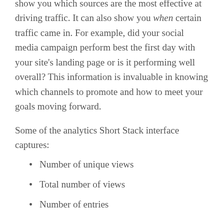show you which sources are the most effective at driving traffic. It can also show you when certain traffic came in. For example, did your social media campaign perform best the first day with your site's landing page or is it performing well overall? This information is invaluable in knowing which channels to promote and how to meet your goals moving forward.
Some of the analytics Short Stack interface captures:
Number of unique views
Total number of views
Number of entries